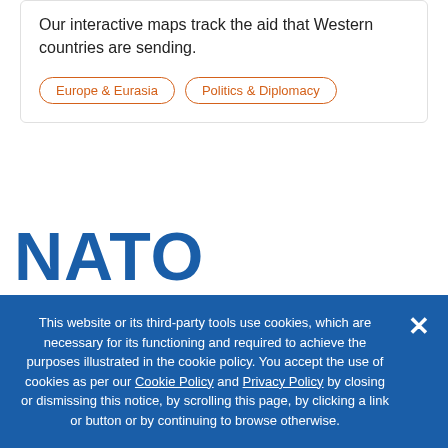Our interactive maps track the aid that Western countries are sending.
Europe & Eurasia
Politics & Diplomacy
NATO FORWARD FORCES
This website or its third-party tools use cookies, which are necessary for its functioning and required to achieve the purposes illustrated in the cookie policy. You accept the use of cookies as per our Cookie Policy and Privacy Policy by closing or dismissing this notice, by scrolling this page, by clicking a link or button or by continuing to browse otherwise.